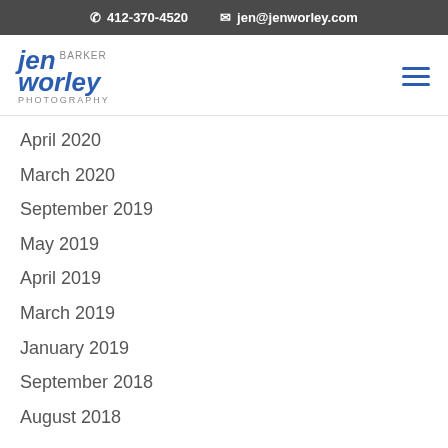412-370-4520  jen@jenworley.com
[Figure (logo): Jen Barker Worley Photography logo]
April 2020
March 2020
September 2019
May 2019
April 2019
March 2019
January 2019
September 2018
August 2018